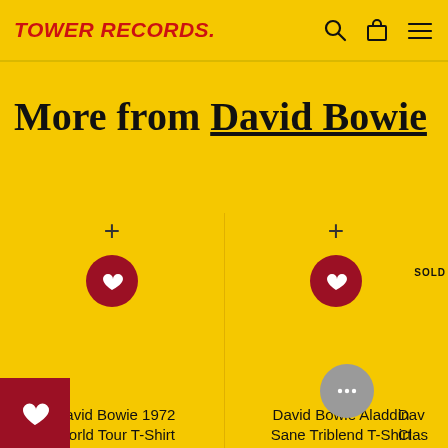TOWER RECORDS.
More from David Bowie
David Bowie 1972 World Tour T-Shirt
T-Shirts
David Bowie Aladdin Sane Triblend T-Shirt
T-Shirts
Dav... Clas...
T-Shirts